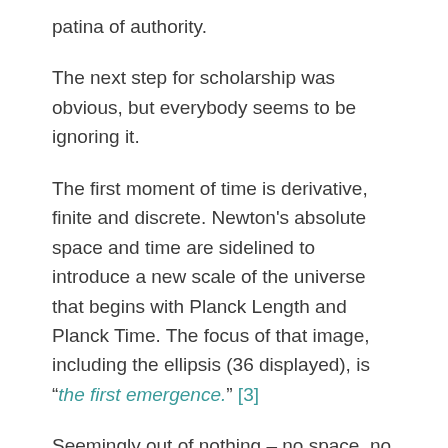patina of authority.
The next step for scholarship was obvious, but everybody seems to be ignoring it.
The first moment of time is derivative, finite and discrete. Newton's absolute space and time are sidelined to introduce a new scale of the universe that begins with Planck Length and Planck Time. The focus of that image, including the ellipsis (36 displayed), is “the first emergence.” [3]
Seemingly out of nothing – no space, no time – it all starts with just one sphere, defined by the Planck base units and many dimensionless constants, that is followed by another sphere, then another and another.... For now, we’ll call these spheres, planckspheres. If these spheres could be observed –